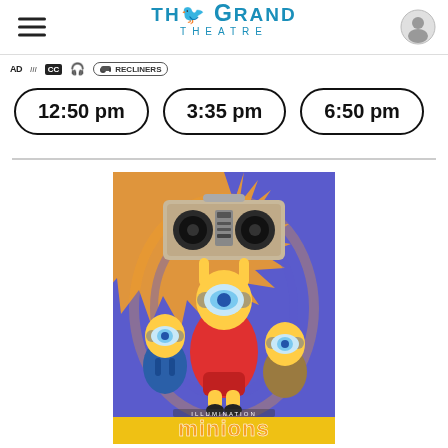THE GRAND THEATRE
AD | Recliners
12:50 pm   3:35 pm   6:50 pm
[Figure (photo): Minions movie poster showing three Minion characters, one in red hoodie holding a boombox overhead, against a blue and orange psychedelic background with the word 'Minions' at the bottom]